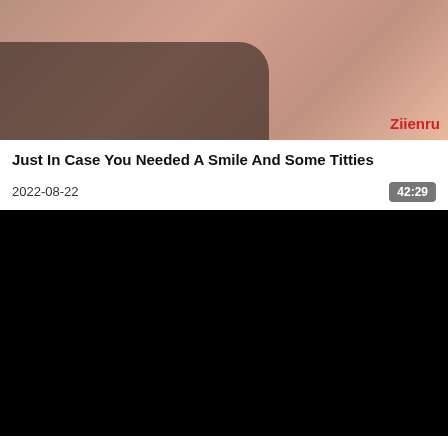[Figure (photo): Thumbnail photo of a person, with watermark text 'Ziienru' in red in the lower right corner]
Just In Case You Needed A Smile And Some Titties
2022-08-22
42:29
[Figure (screenshot): Black video player area]